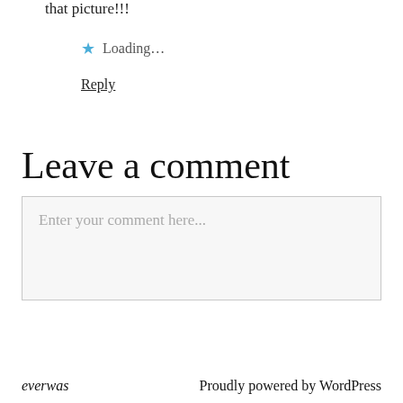that picture!!!
★ Loading…
Reply
Leave a comment
Enter your comment here...
everwas   Proudly powered by WordPress